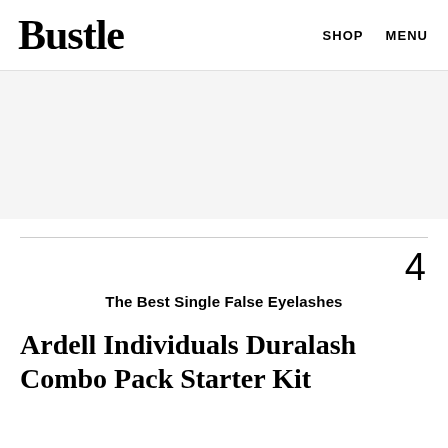Bustle  SHOP  MENU
[Figure (other): Advertisement or placeholder banner area with light gray background]
4
The Best Single False Eyelashes
Ardell Individuals Duralash Combo Pack Starter Kit